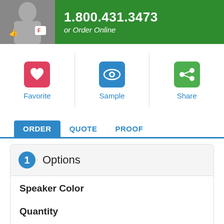[Figure (screenshot): Green promotional banner with person holding a mug, phone number 1.800.431.3473, and 'or Order Online' text]
[Figure (infographic): Three action icons: Favorite (red heart), Sample (blue eye), Share (green share)]
Favorite
Sample
Share
ORDER   QUOTE   PROOF
1 Options
Speaker Color
Quantity
50